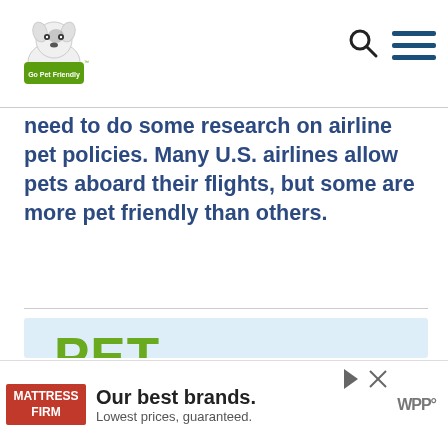Go Pet Friendly - navigation header with logo, search and menu icons
need to do some research on airline pet policies. Many U.S. airlines allow pets aboard their flights, but some are more pet friendly than others.
[Figure (infographic): Pet Friendly Air Travel Policies infographic in green text on light blue background with heart button, count 27, share button, and comment bubble]
[Figure (other): Mattress Firm advertisement: Our best brands. Lowest prices, guaranteed.]